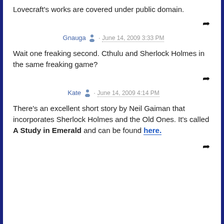Lovecraft's works are covered under public domain.
Gnauga · June 14, 2009 3:33 PM
Wait one freaking second. Cthulu and Sherlock Holmes in the same freaking game?
Kate · June 14, 2009 4:14 PM
There's an excellent short story by Neil Gaiman that incorporates Sherlock Holmes and the Old Ones. It's called A Study in Emerald and can be found here.